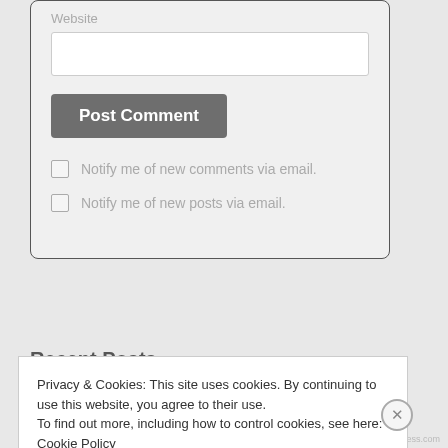Website
[Figure (screenshot): A website text input field (empty white rectangle)]
[Figure (screenshot): Post Comment button (dark gray button with bold white text)]
Notify me of new comments via email.
Notify me of new posts via email.
Recent Posts
Privacy & Cookies: This site uses cookies. By continuing to use this website, you agree to their use.
To find out more, including how to control cookies, see here: Cookie Policy
Close and accept